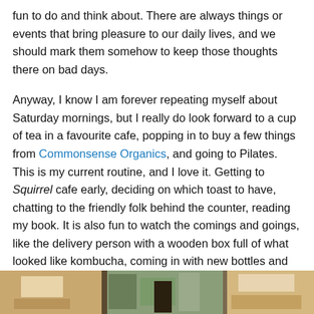fun to do and think about. There are always things or events that bring pleasure to our daily lives, and we should mark them somehow to keep those thoughts there on bad days.
Anyway, I know I am forever repeating myself about Saturday mornings, but I really do look forward to a cup of tea in a favourite cafe, popping in to buy a few things from Commonsense Organics, and going to Pilates. This is my current routine, and I love it. Getting to Squirrel cafe early, deciding on which toast to have, chatting to the friendly folk behind the counter, reading my book. It is also fun to watch the comings and goings, like the delivery person with a wooden box full of what looked like kombucha, coming in with new bottles and taking away the empties.
[Figure (photo): A photo strip showing what appears to be a cafe scene with warm tones, plants, and wooden elements.]